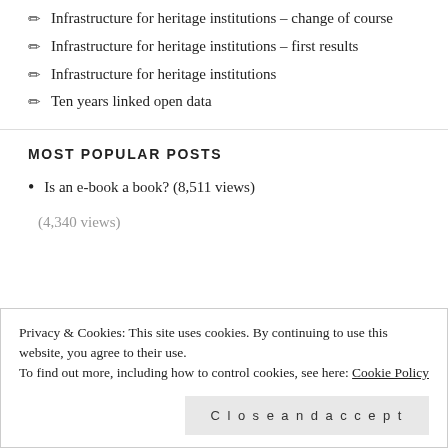Infrastructure for heritage institutions – change of course
Infrastructure for heritage institutions – first results
Infrastructure for heritage institutions
Ten years linked open data
MOST POPULAR POSTS
Is an e-book a book? (8,511 views)
Privacy & Cookies: This site uses cookies. By continuing to use this website, you agree to their use.
To find out more, including how to control cookies, see here: Cookie Policy
(4,340 views)